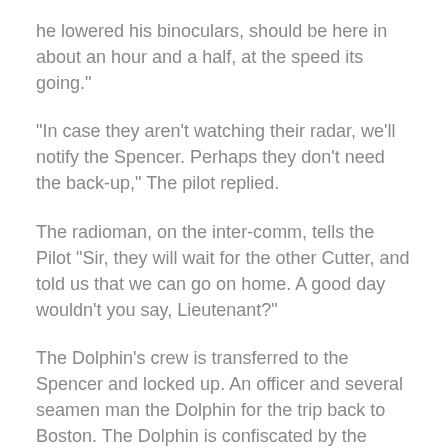he lowered his binoculars, should be here in about an hour and a half, at the speed its going."
"In case they aren't watching their radar, we'll notify the Spencer. Perhaps they don't need the back-up," The pilot replied.
The radioman, on the inter-comm, tells the Pilot "Sir, they will wait for the other Cutter, and told us that we can go on home. A good day wouldn't you say, Lieutenant?"
The Dolphin's crew is transferred to the Spencer and locked up. An officer and several seamen man the Dolphin for the trip back to Boston. The Dolphin is confiscated by the Coast Guard and the crew is turned over to ATF agents for transport to Portland, where they will be interrogated and arraigned. Several men from the Northland, who assisted the Spencer crew, returned to their cutter, which turned